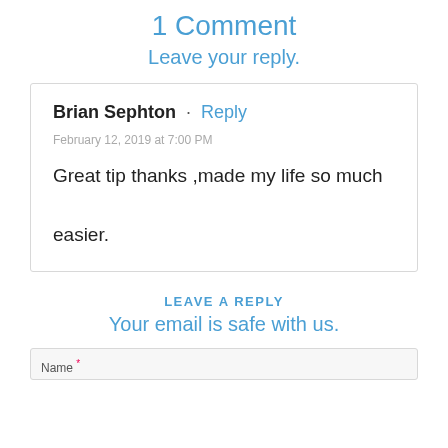1 Comment
Leave your reply.
Brian Sephton · Reply
February 12, 2019 at 7:00 PM
Great tip thanks ,made my life so much easier.
LEAVE A REPLY
Your email is safe with us.